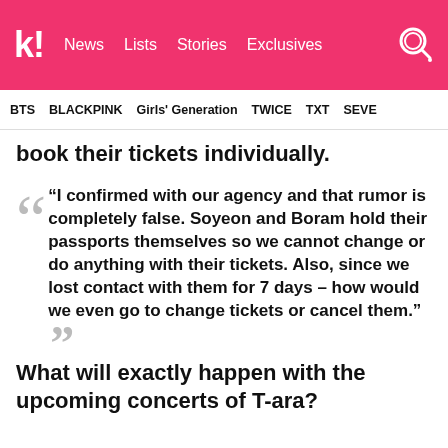k! News Lists Stories Exclusives
BTS  BLACKPINK  Girls' Generation  TWICE  TXT  SEVE
book their tickets individually.
“I confirmed with our agency and that rumor is completely false. Soyeon and Boram hold their passports themselves so we cannot change or do anything with their tickets. Also, since we lost contact with them for 7 days – how would we even go to change tickets or cancel them.”
What will exactly happen with the upcoming concerts of T-ara?